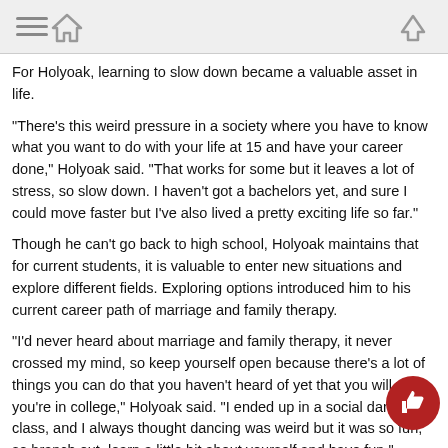[Navigation bar with menu, home, and up icons]
For Holyoak, learning to slow down became a valuable asset in life.
"There's this weird pressure in a society where you have to know what you want to do with your life at 15 and have your career done," Holyoak said. "That works for some but it leaves a lot of stress, so slow down. I haven't got a bachelors yet, and sure I could move faster but I've also lived a pretty exciting life so far."
Though he can't go back to high school, Holyoak maintains that for current students, it is valuable to enter new situations and explore different fields. Exploring options introduced him to his current career path of marriage and family therapy.
"I'd never heard about marriage and family therapy, it never crossed my mind, so keep yourself open because there's a lot of things you can do that you haven't heard of yet that you will when you're in college," Holyoak said. "I ended up in a social dance class, and I always thought dancing was weird but it was so fun, so branch out, learn a little bit about yourself and have fun."
While his time as a leader in both Tomball Memorial and drum corps h... come to an end, with Holyoak preparing to finish off his Norway mission...